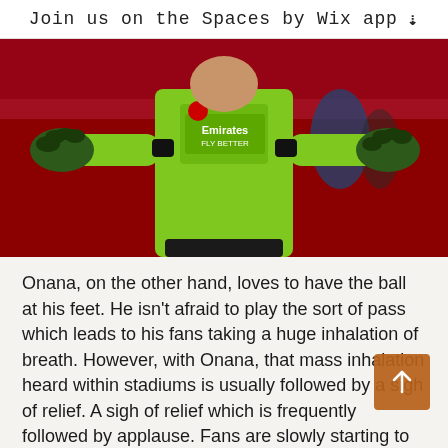Join us on the Spaces by Wix app ↓
[Figure (photo): Goalkeeper wearing an Arsenal Emirates FLY BETTER neon green kit with black goalkeeper gloves, arms spread wide, standing on a football pitch with red stadium seats in background.]
Onana, on the other hand, loves to have the ball at his feet. He isn't afraid to play the sort of pass which leads to his fans taking a huge inhalation of breath. However, with Onana, that mass inhalation heard within stadiums is usually followed by a sigh of relief. A sigh of relief which is frequently followed by applause. Fans are slowly starting to realise just how important it is to have a 'keeper who can play something of a killer pass to spark attacks.